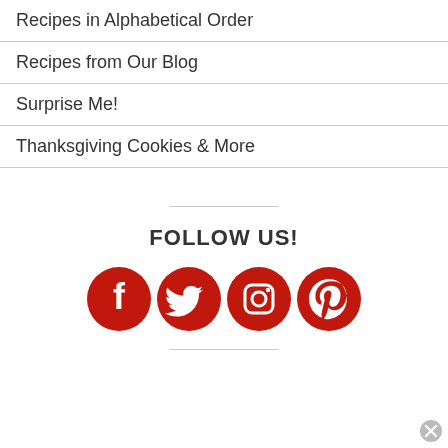Recipes in Alphabetical Order
Recipes from Our Blog
Surprise Me!
Thanksgiving Cookies & More
FOLLOW US!
[Figure (illustration): Four red circular social media icons: Facebook, Twitter, Instagram, Pinterest]